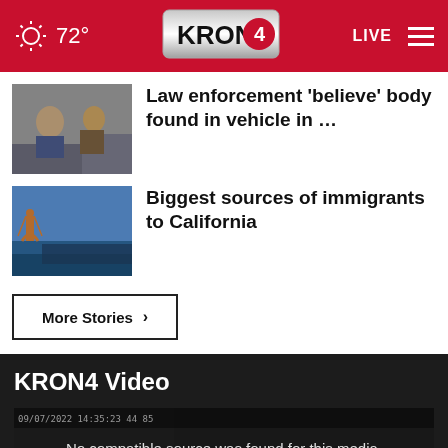72° KRON4 LIVE
[Figure (photo): Thumbnail image of two people, appears to be law enforcement related]
Law enforcement 'believe' body found in vehicle in …
[Figure (photo): Thumbnail image of Golden Gate Bridge and San Francisco skyline]
Biggest sources of immigrants to California
More Stories ›
KRON4 Video
No compatible source was found for this media.